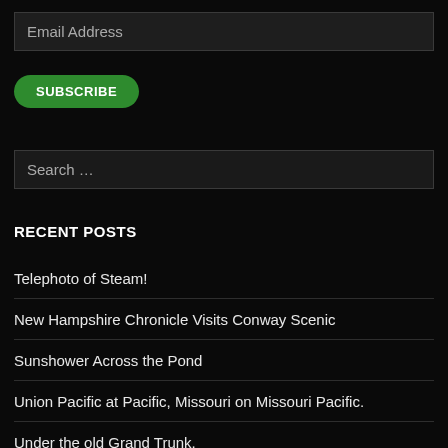Email Address
SUBSCRIBE
Search …
RECENT POSTS
Telephoto of Steam!
New Hampshire Chronicle Visits Conway Scenic
Sunshower Across the Pond
Union Pacific at Pacific, Missouri on Missouri Pacific.
Under the old Grand Trunk.